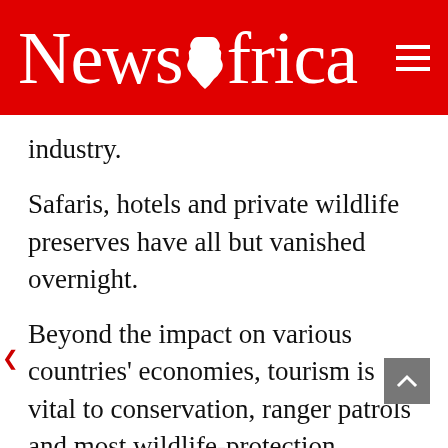News Africa
industry.
Safaris, hotels and private wildlife preserves have all but vanished overnight.
Beyond the impact on various countries' economies, tourism is vital to conservation, ranger patrols and most wildlife-protection projects.
Without these revenue streams and the absence of foreign travellers, people in rural communities are becoming desperate and hunting giraffes, zebras, monkeys and other